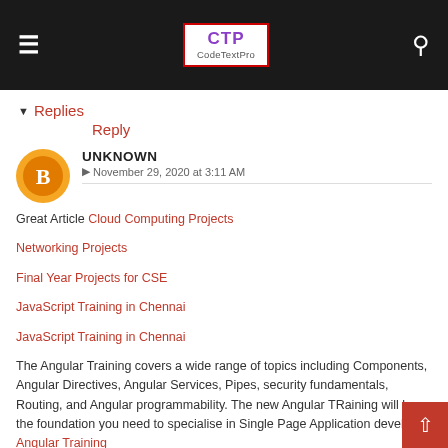CTP CodeTextPro
▾ Replies
        Reply
UNKNOWN
© November 29, 2020 at 3:11 AM
Great Article Cloud Computing Projects

Networking Projects

Final Year Projects for CSE

JavaScript Training in Chennai

JavaScript Training in Chennai

The Angular Training covers a wide range of topics including Components, Angular Directives, Angular Services, Pipes, security fundamentals, Routing, and Angular programmability. The new Angular TRaining will lay the foundation you need to specialise in Single Page Application developer. Angular Training